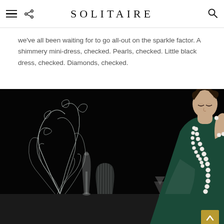SOLITAIRE
we've all been waiting for to go all-out on the sparkle factor. A shimmery mini-dress, checked. Pearls, checked. Little black dress, checked. Diamonds, checked.
[Figure (photo): Fashion editorial photograph of a woman in a dark green dress wearing pearl necklaces and bracelet, posed thoughtfully with her hand near her face, against a black background with crystal glassware and decorative items on a table in front of her.]